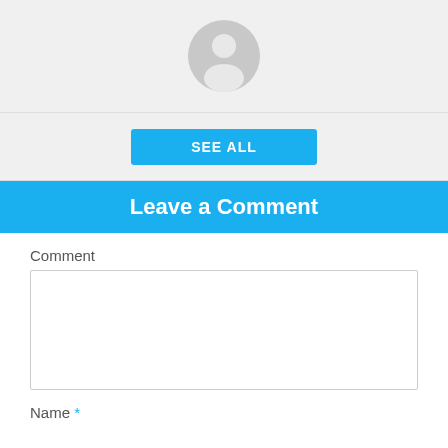[Figure (illustration): Default grey avatar/profile placeholder icon in a circular frame, centered on a light grey background]
SEE ALL
Leave a Comment
Comment
Name *